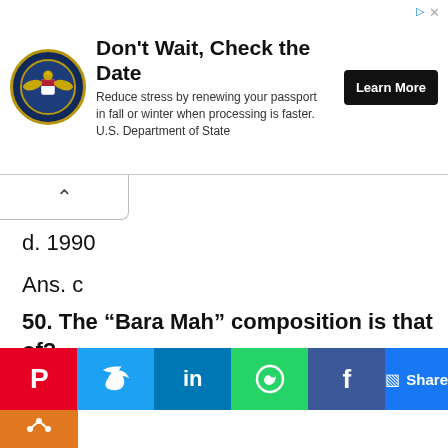[Figure (other): U.S. Department of State advertisement banner with eagle seal logo, headline 'Don't Wait, Check the Date', body text about passport renewal, and 'Learn More' button]
d. 1990
Ans. c
50. The “Bara Mah” composition is that of?
a. Guru Arjan Dev ji
b. Guru Gobind Singh ji
c. Guru Nanak Dev Ji
[Figure (other): Social media sharing bar with Pinterest, Twitter, LinkedIn, WhatsApp, Facebook icons and Share button]